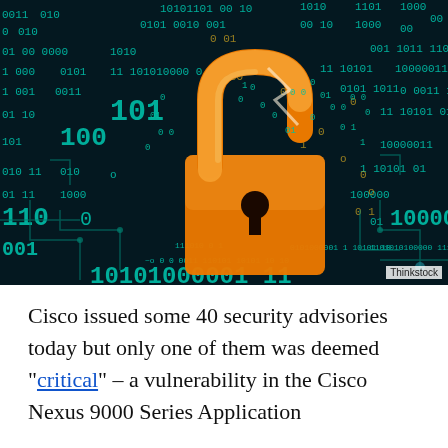[Figure (illustration): Cybersecurity concept image showing a broken orange padlock against a dark background filled with binary code (0s and 1s) in teal/green, with circuit board lines. Photo credit: Thinkstock]
Cisco issued some 40 security advisories today but only one of them was deemed “critical” – a vulnerability in the Cisco Nexus 9000 Series Application